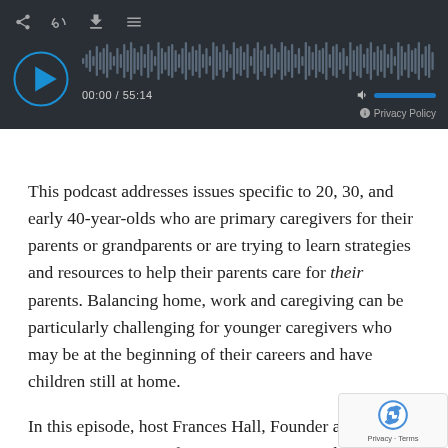[Figure (screenshot): Audio podcast player with dark background showing play button, waveform visualization, time display 00:00 / 55:14, volume control, and Privacy Policy link]
This podcast addresses issues specific to 20, 30, and early 40-year-olds who are primary caregivers for their parents or grandparents or are trying to learn strategies and resources to help their parents care for their parents. Balancing home, work and caregiving can be particularly challenging for younger caregivers who may be at the beginning of their careers and have children still at home.
In this episode, host Frances Hall, Founder and Executive Director of ACAPcommunity, Adult Children of